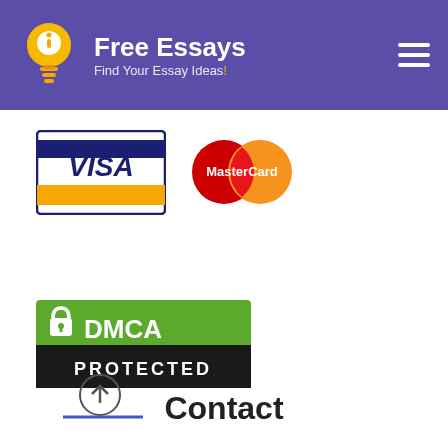[Figure (logo): Free Essays website header with lightbulb logo, site title 'Free Essays', subtitle 'Find Your Essay Ideas!' and hamburger menu icon on purple background]
[Figure (logo): VISA payment card logo - blue and gold on white background with blue border]
[Figure (logo): MasterCard payment logo - overlapping red and orange circles with 'MasterCard' text]
[Figure (logo): DMCA Protected badge - green and black rectangular badge with padlock icon]
Contact
[Figure (illustration): Scroll-to-top button - circle with upward arrow and blue underline]